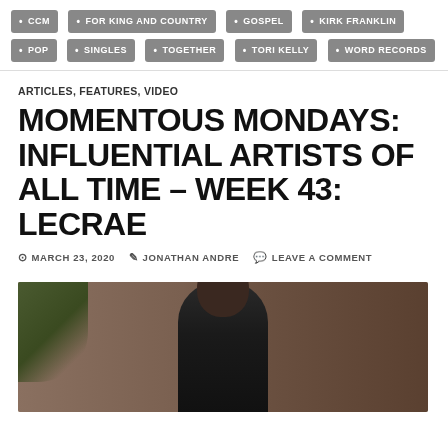CCM
FOR KING AND COUNTRY
GOSPEL
KIRK FRANKLIN
POP
SINGLES
TOGETHER
TORI KELLY
WORD RECORDS
ARTICLES, FEATURES, VIDEO
MOMENTOUS MONDAYS: INFLUENTIAL ARTISTS OF ALL TIME – WEEK 43: LECRAE
MARCH 23, 2020   JONATHAN ANDRE   LEAVE A COMMENT
[Figure (photo): Portrait photo of Lecrae, a Black male artist, wearing dark clothing, with a plant and wooden background visible]